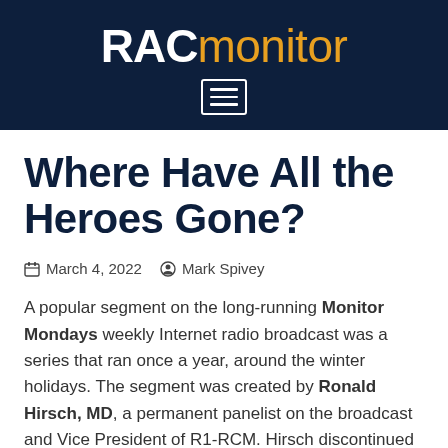RACmonitor
Where Have All the Heroes Gone?
March 4, 2022  Mark Spivey
A popular segment on the long-running Monitor Mondays weekly Internet radio broadcast was a series that ran once a year, around the winter holidays. The segment was created by Ronald Hirsch, MD, a permanent panelist on the broadcast and Vice President of R1-RCM. Hirsch discontinued the series in 2020, as the COVID-19 pandemic